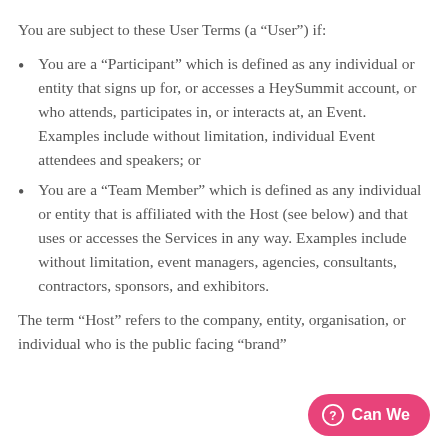You are subject to these User Terms (a “User”) if:
You are a “Participant” which is defined as any individual or entity that signs up for, or accesses a HeySummit account, or who attends, participates in, or interacts at, an Event. Examples include without limitation, individual Event attendees and speakers; or
You are a “Team Member” which is defined as any individual or entity that is affiliated with the Host (see below) and that uses or accesses the Services in any way. Examples include without limitation, event managers, agencies, consultants, contractors, sponsors, and exhibitors.
The term “Host” refers to the company, entity, organisation, or individual who is the public facing “brand”